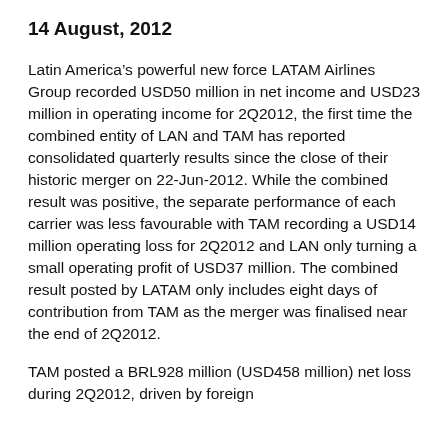14 August, 2012
Latin America's powerful new force LATAM Airlines Group recorded USD50 million in net income and USD23 million in operating income for 2Q2012, the first time the combined entity of LAN and TAM has reported consolidated quarterly results since the close of their historic merger on 22-Jun-2012. While the combined result was positive, the separate performance of each carrier was less favourable with TAM recording a USD14 million operating loss for 2Q2012 and LAN only turning a small operating profit of USD37 million. The combined result posted by LATAM only includes eight days of contribution from TAM as the merger was finalised near the end of 2Q2012.
TAM posted a BRL928 million (USD458 million) net loss during 2Q2012, driven by foreign...